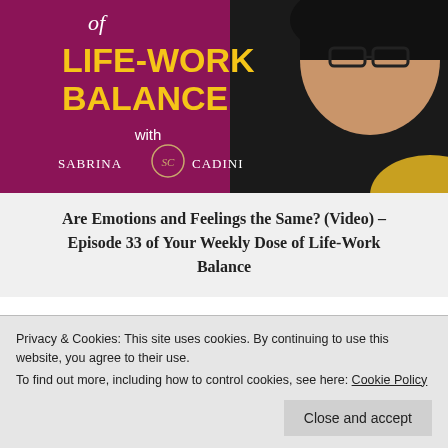[Figure (illustration): Podcast/video show banner for 'Your Weekly Dose of Life-Work Balance with Sabrina Cadini'. Magenta/pink background on left with yellow bold text 'LIFE-WORK BALANCE', white italic 'of' above, 'with' and 'SABRINA SC CADINI' below. Right side shows a woman with glasses and dark hair looking thoughtful. Second partial banner visible at bottom.]
Are Emotions and Feelings the Same? (Video) – Episode 33 of Your Weekly Dose of Life-Work Balance
Privacy & Cookies: This site uses cookies. By continuing to use this website, you agree to their use.
To find out more, including how to control cookies, see here: Cookie Policy